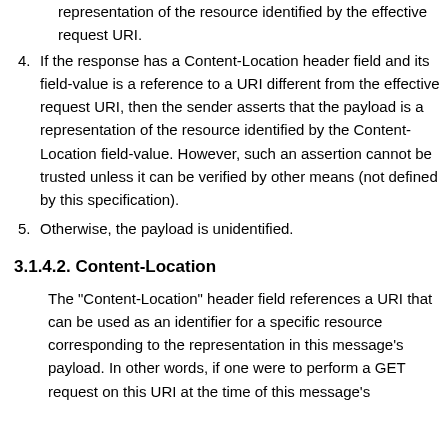representation of the resource identified by the effective request URI.
4. If the response has a Content-Location header field and its field-value is a reference to a URI different from the effective request URI, then the sender asserts that the payload is a representation of the resource identified by the Content-Location field-value. However, such an assertion cannot be trusted unless it can be verified by other means (not defined by this specification).
5. Otherwise, the payload is unidentified.
3.1.4.2. Content-Location
The "Content-Location" header field references a URI that can be used as an identifier for a specific resource corresponding to the representation in this message's payload. In other words, if one were to perform a GET request on this URI at the time of this message's